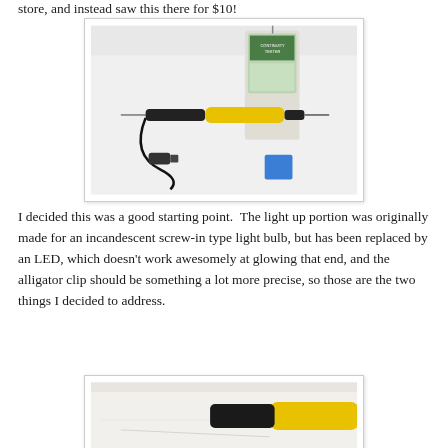store, and instead saw this there for $10!
[Figure (photo): A voltage/continuity tester pen with yellow and black handle, a probe, an alligator clip with black wire, and a blue component on a white surface. A packaged continuity tester is visible in the background.]
I decided this was a good starting point.  The light up portion was originally made for an incandescent screw-in type light bulb, but has been replaced by an LED, which doesn't work awesomely at glowing that end, and the alligator clip should be something a lot more precise, so those are the two things I decided to address.
[Figure (photo): Close-up photo showing part of the yellow and black continuity tester pen on a white surface.]